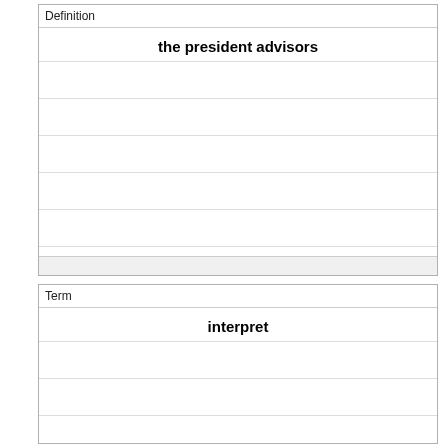| Definition |
| --- |
| the president advisors |
|  |
|  |
|  |
|  |
|  |
| Term |
| --- |
| interpret |
|  |
|  |
|  |
|  |